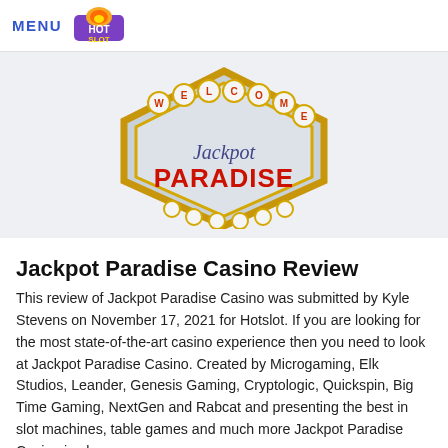MENU [Hot Slot logo]
[Figure (logo): Jackpot Paradise Casino welcome sign logo — Vegas-style diamond sign with bulb letters spelling WELCOME at top, script text 'Jackpot' and bold red text 'PARADISE' below, gold border]
Jackpot Paradise Casino Review
This review of Jackpot Paradise Casino was submitted by Kyle Stevens on November 17, 2021 for Hotslot. If you are looking for the most state-of-the-art casino experience then you need to look at Jackpot Paradise Casino. Created by Microgaming, Elk Studios, Leander, Genesis Gaming, Cryptologic, Quickspin, Big Time Gaming, NextGen and Rabcat and presenting the best in slot machines, table games and much more Jackpot Paradise Casino is always